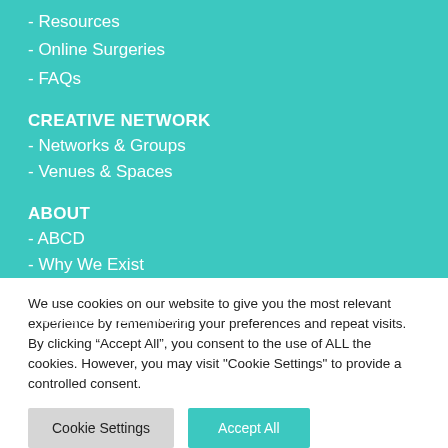- Resources
- Online Surgeries
- FAQs
CREATIVE NETWORK
- Networks & Groups
- Venues & Spaces
ABOUT
- ABCD
- Why We Exist
- People
- Cultural Framework
We use cookies on our website to give you the most relevant experience by remembering your preferences and repeat visits. By clicking “Accept All”, you consent to the use of ALL the cookies. However, you may visit "Cookie Settings" to provide a controlled consent.